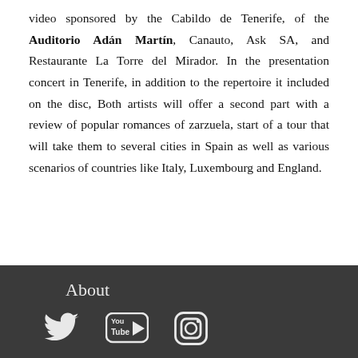video sponsored by the Cabildo de Tenerife, of the Auditorio Adán Martín, Canauto, Ask SA, and Restaurante La Torre del Mirador. In the presentation concert in Tenerife, in addition to the repertoire it included on the disc, Both artists will offer a second part with a review of popular romances of zarzuela, start of a tour that will take them to several cities in Spain as well as various scenarios of countries like Italy, Luxembourg and England.
About